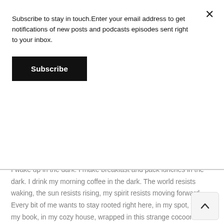Subscribe to stay in touch.Enter your email address to get notifications of new posts and podcasts episodes sent right to your inbox.
Subscribe
I wake up in the dark. I make breakfast and pack lunches in the dark. I drink my morning coffee in the dark. The world resists waking, the sun resists rising, my spirit resists moving forward. Every bit of me wants to stay rooted right here, in my spot, with my book, in my cozy house, wrapped in this strange cocoon of despair.
I have not been OK of late, and I've spent so much of my time contemplating why.
My house, only a few weeks ago filled with so much laughter, squealing, giggles, excitement and love, is